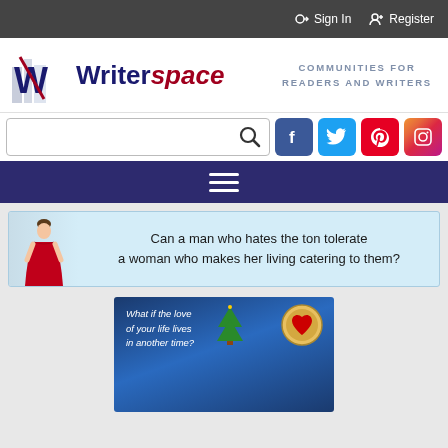Sign In   Register
[Figure (logo): Writerspace logo with navy and red text and building icon]
COMMUNITIES FOR READERS AND WRITERS
[Figure (screenshot): Search bar with magnifying glass icon and social media icons for Facebook, Twitter, Pinterest, Instagram]
[Figure (infographic): Dark navy navigation bar with hamburger menu icon]
[Figure (infographic): Light blue banner with woman in red dress and text: Can a man who hates the ton tolerate a woman who makes her living catering to them?]
[Figure (illustration): Book cover with text: What if the love of your life lives in another time? Shows woman in red hat and man, with heart logo]